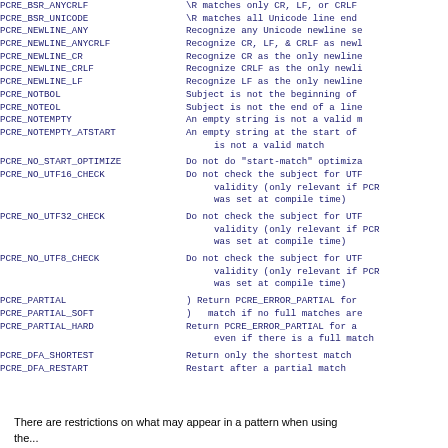| Option | Description |
| --- | --- |
| PCRE_BSR_ANYCRLF | \R matches only CR, LF, or CRLF |
| PCRE_BSR_UNICODE | \R matches all Unicode line end |
| PCRE_NEWLINE_ANY | Recognize any Unicode newline se |
| PCRE_NEWLINE_ANYCRLF | Recognize CR, LF, & CRLF as new |
| PCRE_NEWLINE_CR | Recognize CR as the only newline |
| PCRE_NEWLINE_CRLF | Recognize CRLF as the only newli |
| PCRE_NEWLINE_LF | Recognize LF as the only newline |
| PCRE_NOTBOL | Subject is not the beginning of |
| PCRE_NOTEOL | Subject is not the end of a line |
| PCRE_NOTEMPTY | An empty string is not a valid m |
| PCRE_NOTEMPTY_ATSTART | An empty string at the start of
    is not a valid match |
| PCRE_NO_START_OPTIMIZE | Do not do "start-match" optimiza |
| PCRE_NO_UTF16_CHECK | Do not check the subject for UTF
    validity (only relevant if PCR
    was set at compile time) |
| PCRE_NO_UTF32_CHECK | Do not check the subject for UTF
    validity (only relevant if PCR
    was set at compile time) |
| PCRE_NO_UTF8_CHECK | Do not check the subject for UTF
    validity (only relevant if PCR
    was set at compile time) |
| PCRE_PARTIAL | ) Return PCRE_ERROR_PARTIAL for |
| PCRE_PARTIAL_SOFT | )   match if no full matches are |
| PCRE_PARTIAL_HARD | Return PCRE_ERROR_PARTIAL for a
    even if there is a full match |
| PCRE_DFA_SHORTEST | Return only the shortest match |
| PCRE_DFA_RESTART | Restart after a partial match |
There are restrictions on what may appear in a pattern when using the...